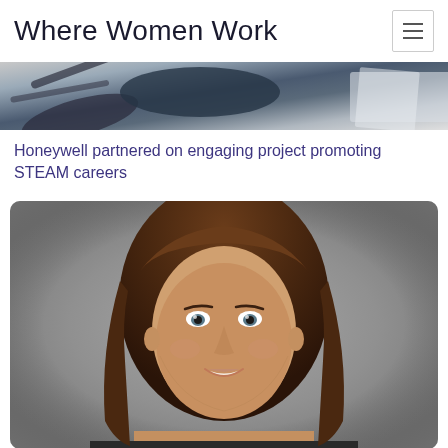Where Women Work
[Figure (photo): Top banner image showing partial view of tools or work-related objects in dark blue/grey tones]
Honeywell partnered on engaging project promoting STEAM careers
[Figure (photo): Professional headshot of a woman with long brown hair, smiling, against a grey background]